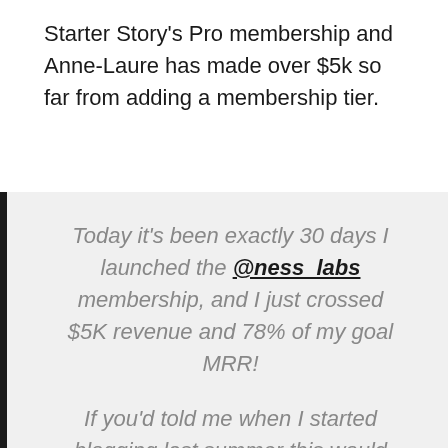Starter Story's Pro membership and Anne-Laure has made over $5k so far from adding a membership tier.
Today it's been exactly 30 days I launched the @ness_labs membership, and I just crossed $5K revenue and 78% of my goal MRR!

If you'd told me when I started blogging last summer this would become a proper little business, I